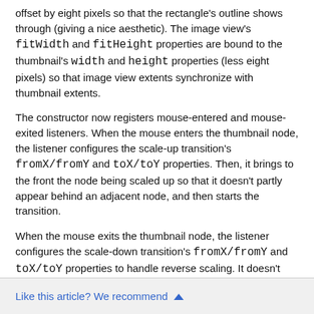offset by eight pixels so that the rectangle's outline shows through (giving a nice aesthetic). The image view's fitWidth and fitHeight properties are bound to the thumbnail's width and height properties (less eight pixels) so that image view extents synchronize with thumbnail extents.
The constructor now registers mouse-entered and mouse-exited listeners. When the mouse enters the thumbnail node, the listener configures the scale-up transition's fromX/fromY and toX/toY properties. Then, it brings to the front the node being scaled up so that it doesn't partly appear behind an adjacent node, and then starts the transition.
When the mouse exits the thumbnail node, the listener configures the scale-down transition's fromX/fromY and toX/toY properties to handle reverse scaling. It doesn't have to bring the node to the front because the node that's scaling down is already in front and remains there until another thumbnail is entered. Finally, the listener starts this transition.
Like this article? We recommend